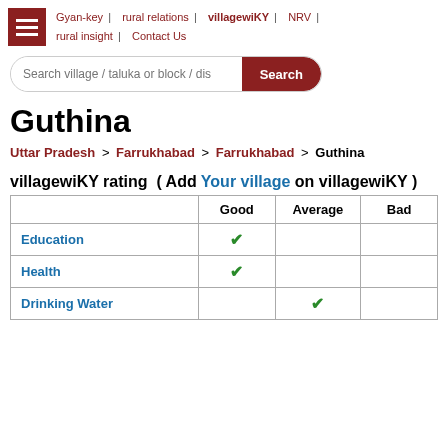Gyan-key | rural relations | villagewiKY | NRV | rural insight | Contact Us
[Figure (screenshot): Search bar with text 'Search village / taluka or block / dis' and a red Search button]
Guthina
Uttar Pradesh > Farrukhabad > Farrukhabad > Guthina
villagewiKY rating ( Add Your village on villagewiKY )
|  | Good | Average | Bad |
| --- | --- | --- | --- |
| Education | ✓ |  |  |
| Health | ✓ |  |  |
| Drinking Water |  | ✓ |  |